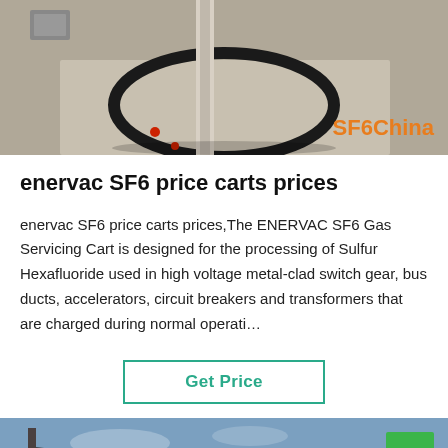[Figure (photo): Top photo showing a large black circular cable ring/hose on a concrete floor with industrial equipment in background. SF6China watermark in orange bottom-right.]
enervac SF6 price carts prices
enervac SF6 price carts prices,The ENERVAC SF6 Gas Servicing Cart is designed for the processing of Sulfur Hexafluoride used in high voltage metal-clad switch gear, bus ducts, accelerators, circuit breakers and transformers that are charged during normal operati…
Get Price
[Figure (photo): Bottom banner photo showing industrial electrical equipment/transformers with power lines and blue sky. Green scroll-to-top arrow button and Leave Message / Chat Online bar with headset agent avatar.]